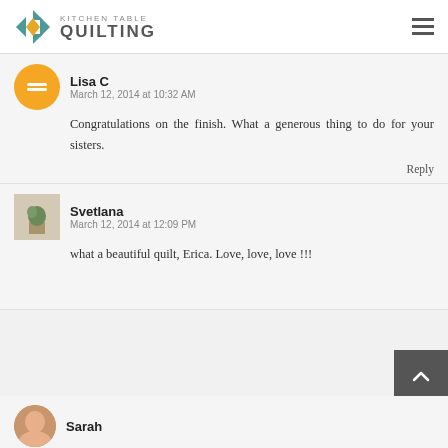Kitchen Table Quilting
Lisa C
March 12, 2014 at 10:32 AM
Congratulations on the finish. What a generous thing to do for your sisters.
Reply
Svetlana
March 12, 2014 at 12:09 PM
what a beautiful quilt, Erica. Love, love, love !!!
Sarah